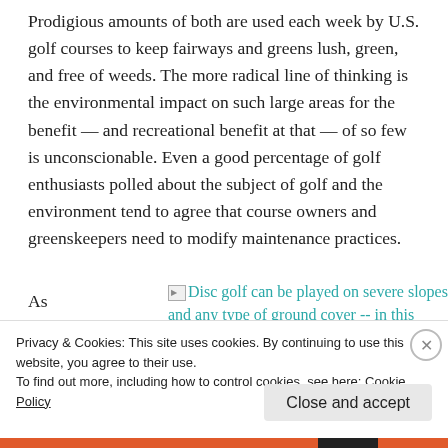Prodigious amounts of both are used each week by U.S. golf courses to keep fairways and greens lush, green, and free of weeds. The more radical line of thinking is the environmental impact on such large areas for the benefit — and recreational benefit at that — of so few is unconscionable. Even a good percentage of golf enthusiasts polled about the subject of golf and the environment tend to agree that course owners and greenskeepers need to modify maintenance practices.
As part of
[Figure (other): Broken image icon followed by teal hyperlink text: 'Disc golf can be played on severe slopes and any type of ground cover -- in this case,']
Privacy & Cookies: This site uses cookies. By continuing to use this website, you agree to their use.
To find out more, including how to control cookies, see here: Cookie Policy
Close and accept